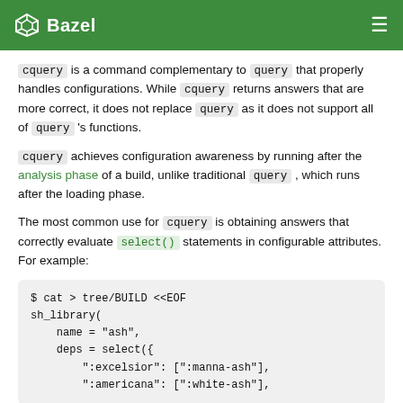Bazel
cquery is a command complementary to query that properly handles configurations. While cquery returns answers that are more correct, it does not replace query as it does not support all of query 's functions.
cquery achieves configuration awareness by running after the analysis phase of a build, unlike traditional query , which runs after the loading phase.
The most common use for cquery is obtaining answers that correctly evaluate select() statements in configurable attributes. For example:
[Figure (screenshot): Code block showing: $ cat > tree/BUILD <<EOF
sh_library(
    name = "ash",
    deps = select({
        ":excelsior": [":manna-ash"],
        ":americana": [":white-ash"],]